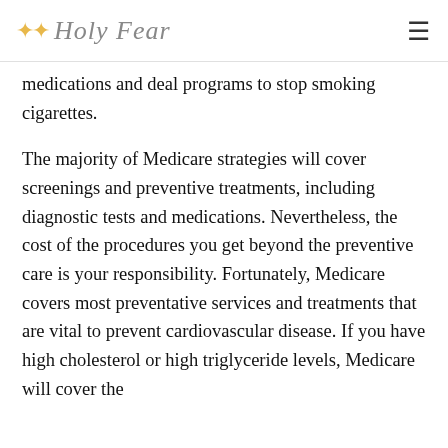Holy Fear
medications and deal programs to stop smoking cigarettes.
The majority of Medicare strategies will cover screenings and preventive treatments, including diagnostic tests and medications. Nevertheless, the cost of the procedures you get beyond the preventive care is your responsibility. Fortunately, Medicare covers most preventative services and treatments that are vital to prevent cardiovascular disease. If you have high cholesterol or high triglyceride levels, Medicare will cover the